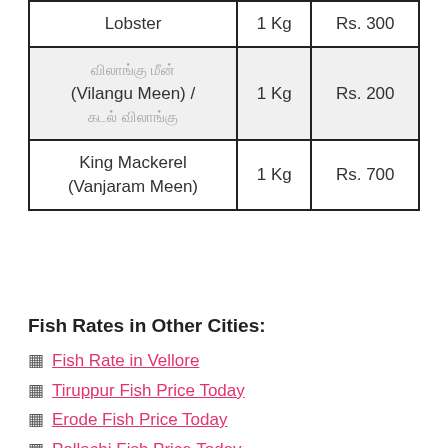| Lobster | 1 Kg | Rs. 300 |
| விலாங்கு மீன் (Vilangu Meen) / கடல் விலாங்கு | 1 Kg | Rs. 200 |
| King Mackerel (Vanjaram Meen) | 1 Kg | Rs. 700 |
Fish Rates in Other Cities:
Fish Rate in Vellore
Tiruppur Fish Price Today
Erode Fish Price Today
Pollachi Fish Price Today
Today Fish Rate in Trichy